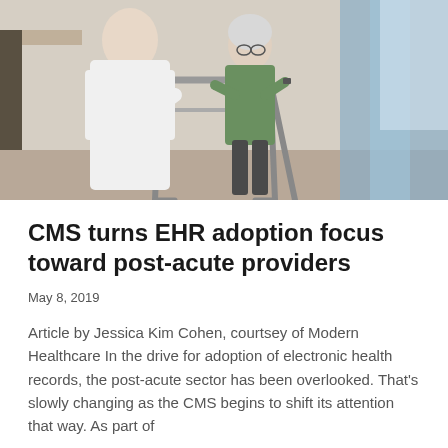[Figure (photo): A nurse in white uniform assisting an elderly woman with a walker/walking frame indoors, light-colored room with blue curtains in background.]
CMS turns EHR adoption focus toward post-acute providers
May 8, 2019
Article by Jessica Kim Cohen, courtsey of Modern Healthcare In the drive for adoption of electronic health records, the post-acute sector has been overlooked. That’s slowly changing as the CMS begins to shift its attention that way. As part of